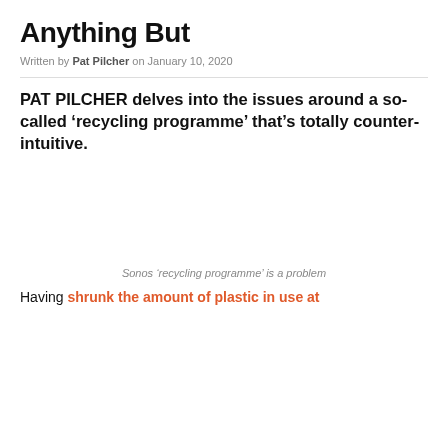Anything But
Written by Pat Pilcher on January 10, 2020
PAT PILCHER delves into the issues around a so-called ‘recycling programme’ that’s totally counter-intuitive.
Sonos ‘recycling programme’ is a problem
Having shrunk the amount of plastic in use at